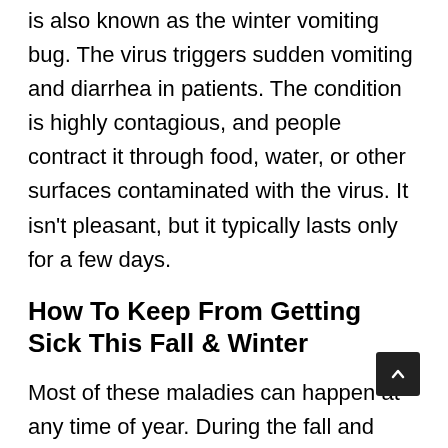is also known as the winter vomiting bug. The virus triggers sudden vomiting and diarrhea in patients. The condition is highly contagious, and people contract it through food, water, or other surfaces contaminated with the virus. It isn't pleasant, but it typically lasts only for a few days.
How To Keep From Getting Sick This Fall & Winter
Most of these maladies can happen at any time of year. During the fall and winter seasons, however, they are much more prevalent. During the colder times of the year, be sure to bundle up, stay warm, and take all other helpful steps to minimize the chances of falling ill.